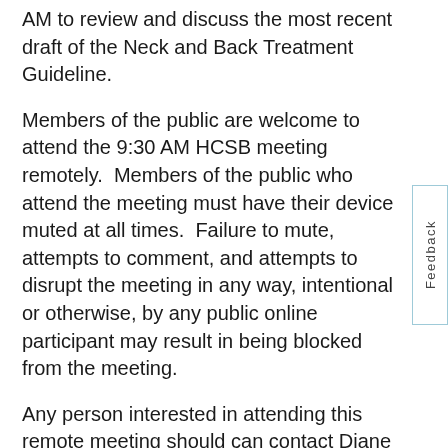AM to review and discuss the most recent draft of the Neck and Back Treatment Guideline.
Members of the public are welcome to attend the 9:30 AM HCSB meeting remotely.  Members of the public who attend the meeting must have their device muted at all times.  Failure to mute, attempts to comment, and attempts to disrupt the meeting in any way, intentional or otherwise, by any public online participant may result in being blocked from the meeting.
Any person interested in attending this remote meeting should can contact Diane Neelon at diane.neelon@mass.gov any time prior to said meeting, and will be provided with a link as soon as practical to join the meeting.